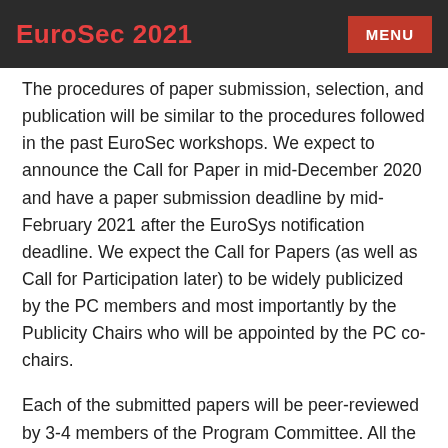EuroSec 2021  MENU
The procedures of paper submission, selection, and publication will be similar to the procedures followed in the past EuroSec workshops. We expect to announce the Call for Paper in mid-December 2020 and have a paper submission deadline by mid-February 2021 after the EuroSys notification deadline. We expect the Call for Papers (as well as Call for Participation later) to be widely publicized by the PC members and most importantly by the Publicity Chairs who will be appointed by the PC co-chairs.
Each of the submitted papers will be peer-reviewed by 3-4 members of the Program Committee. All the reviews and discussions will be supported by an online conference management system (HotCrp). Based on